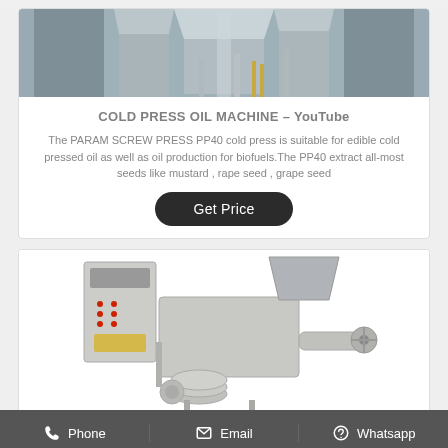[Figure (photo): Industrial cold press oil machine facility with large metal silos/tanks and piping inside a warehouse]
COLD PRESS OIL MACHINE – YouTube
The PARAM SCREW PRESS PP40 cold press is suitable for edible cold pressed oil as well as oil production for biofuels.The PP40 extract all-most seeds like mustard , rape seed , grape seed
[Figure (photo): Cold press screw oil press machine, grey/silver colored with a funnel hopper on top right and control panel on the left]
Phone   Email   Whatsapp